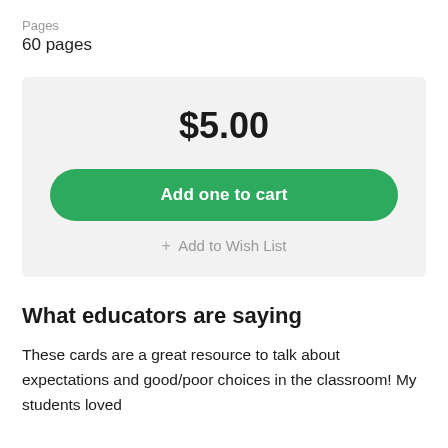Pages
60 pages
$5.00
Add one to cart
+ Add to Wish List
What educators are saying
These cards are a great resource to talk about expectations and good/poor choices in the classroom! My students loved